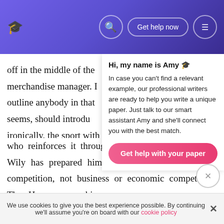[Figure (screenshot): Website header bar with gradient purple background, graduation cap logo, search icon, 'Get help now' button, and hamburger menu icon]
off in the middle of the merchandise manager. I outline anybody in that seems, should introdu ironically, the sport with not used in any extens Instead, boxing becomes the text, and it is not int
Hi, my name is Amy 🎓
In case you can't find a relevant example, our professional writers are ready to help you write a unique paper. Just talk to our smart assistant Amy and she'll connect you with the best match.
Get help with your paper
who reinforces it throughout the play to show how Wily has prepared him and Biff only for physical competition, not business or economic competition. Thus Hap expresses his
We use cookies to give you the best experience possible. By continuing we'll assume you're on board with our cookie policy